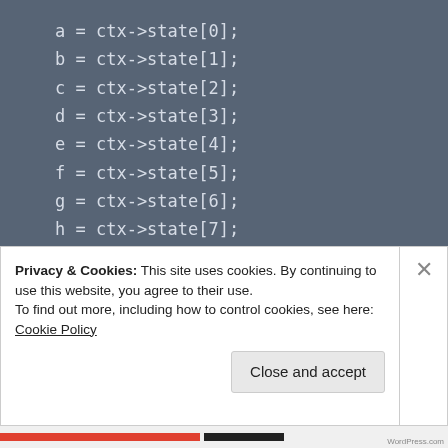a = ctx->state[0];
b = ctx->state[1];
c = ctx->state[2];
d = ctx->state[3];
e = ctx->state[4];
f = ctx->state[5];
g = ctx->state[6];
h = ctx->state[7];

for (i = 0; i < 64; ++i) {
	t1 = h + EP1(e) + CH(e,f,g) + k[i] +
		EP0( ) + MA( , , )
Privacy & Cookies: This site uses cookies. By continuing to use this website, you agree to their use.
To find out more, including how to control cookies, see here: Cookie Policy